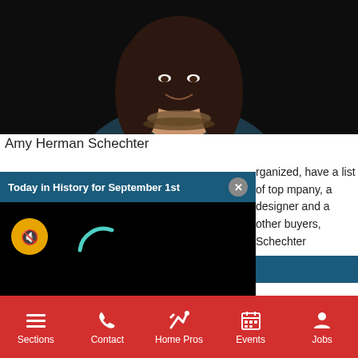[Figure (photo): Portrait photo of Amy Herman Schechter, a woman with long dark hair smiling, wearing a dark blue top and layered necklaces, against a dark background.]
Amy Herman Schechter
…rganized, have a list of top …mpany, a designer and a …other buyers, Schechter
[Figure (screenshot): A popup overlay video player titled 'Today in History for September 1st' with a dark/black video area, a yellow muted speaker button, a teal loading spinner arc, and a grey close (×) button in the header.]
[Figure (other): Dark blue/teal horizontal bar element]
[Figure (screenshot): Red bottom navigation bar with icons and labels: Sections (hamburger menu), Contact (phone), Home Pros (tools/wrench), Events (calendar), Jobs (person/briefcase)]